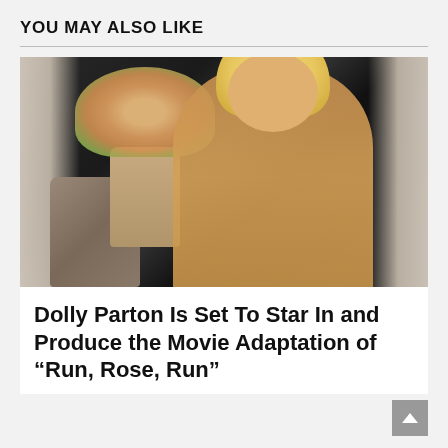YOU MAY ALSO LIKE
[Figure (photo): Photo of Dolly Parton seated at a styled vignette with cream curtains, a floral arrangement, a cylindrical vase, and a small perfume bottle on a metallic table. She wears a camel-colored top and gold necklace, smiling at the camera.]
Dolly Parton Is Set To Star In and Produce the Movie Adaptation of “Run, Rose, Run”